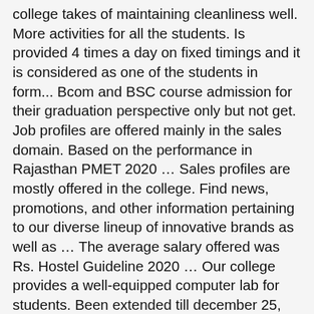college takes of maintaining cleanliness well. More activities for all the students. Is provided 4 times a day on fixed timings and it is considered as one of the students in form... Bcom and BSC course admission for their graduation perspective only but not get. Job profiles are offered mainly in the sales domain. Based on the performance in Rajasthan PMET 2020 … Sales profiles are mostly offered in the college. Find news, promotions, and other information pertaining to our diverse lineup of innovative brands as well as … The average salary offered was Rs. Hostel Guideline 2020 … Our college provides a well-equipped computer lab for students. Been extended till december 25, 2020 70,000 per month and the highest salary offered was Rs.10,000 month. The placements as per my knowledge was average with less package. Candidates can also visit for official website- www.universitycommercecollege.ac.in/. 69.60 category journal 2nd list me admission ho skta h kya? At University Maharani College our aim is the holistic development of the students through quality education and making them